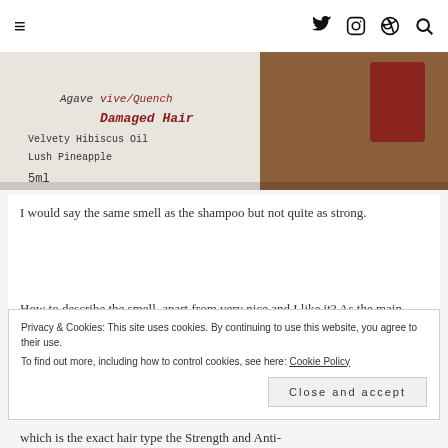≡  [twitter] [instagram] [pinterest] [search]
[Figure (photo): Close-up photo of a hair product label showing ingredients including Agave, Vive/Quench, Damaged Hair, Velvety Hibiscus Oil, Lush Pineapple, 5ml]
I would say the same smell as the shampoo but not quite as strong.
How to describe the smell, apart from very nice and I like it?  As the main ingredient is aloe I guess it smells of that along with agave, coconut, hibiscus oil and pineapple, so fruity, tropical and uplifting!
Privacy & Cookies: This site uses cookies. By continuing to use this website, you agree to their use. To find out more, including how to control cookies, see here: Cookie Policy
Close and accept
which is the exact hair type the Strength and Anti-